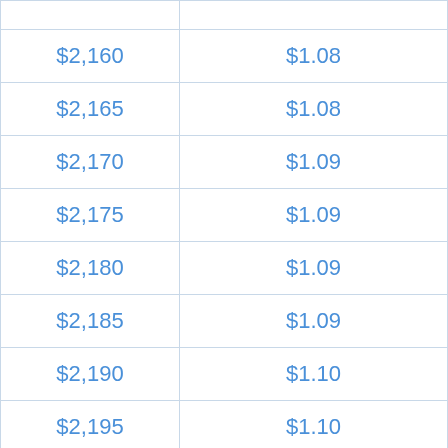| $2,160 | $1.08 |
| $2,165 | $1.08 |
| $2,170 | $1.09 |
| $2,175 | $1.09 |
| $2,180 | $1.09 |
| $2,185 | $1.09 |
| $2,190 | $1.10 |
| $2,195 | $1.10 |
| $2,200 | $1.10 |
| $2,205 | $1.10 |
| $2,210 | $1.11 |
| $2,215 | $1.11 |
| $2,220 | $1.11 |